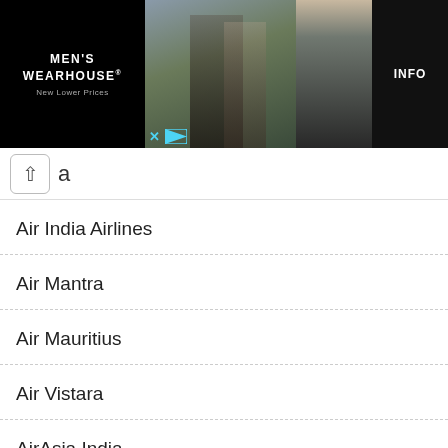[Figure (photo): Men's Wearhouse advertisement banner showing a couple in formal wear, a man in a suit on the right side, and an INFO button. Black background with 'MEN'S WEARHOUSE New Lower Prices' logo on the left.]
a
Air India Airlines
Air Mantra
Air Mauritius
Air Vistara
AirAsia India
Armavia Airlines
Austrian Airlines
British Airways
Cathay Pacific Airlines
Delta Air Lines